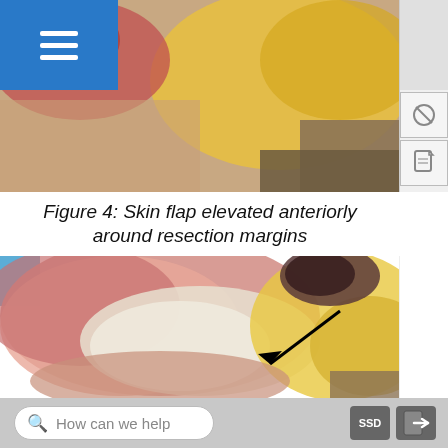[Figure (photo): Medical photograph showing a skin flap elevated anteriorly around resection margins, with red/pink tissue and yellowish fatty tissue visible, top navigation bar with hamburger menu icon in blue]
Figure 4: Skin flap elevated anteriorly around resection margins
[Figure (photo): Medical photograph showing a skin flap elevated around resection margins with pink and yellow fatty tissue, with a black arrow pointing to the resection area]
How can we help